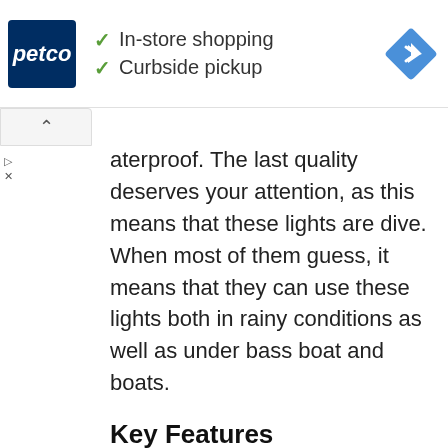[Figure (logo): Petco advertisement banner with Petco logo, checkmarks for In-store shopping and Curbside pickup, and a blue navigation/directions icon]
aterproof. The last quality deserves your attention, as this means that these lights are dive. When most of them guess, it means that they can use these lights both in rainy conditions as well as under bass boat and boats.
Key Features
Universal compatibility
Two-year risk-free warranty
Up to 50,000 hours lifespan